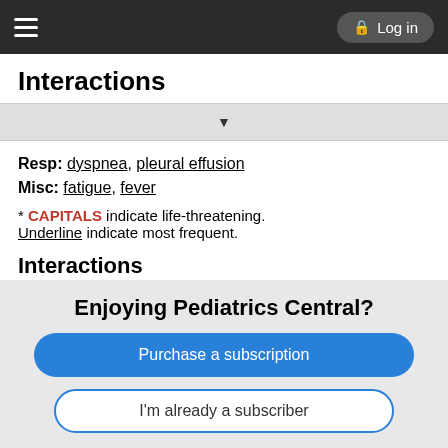Interactions — Log in
Interactions
Resp: dyspnea, pleural effusion
Misc: fatigue, fever
* CAPITALS indicate life-threatening. Underline indicate most frequent.
Interactions
Drug-Drug
Strong CYP3A4 inhibitors, including ketoconazole, or moderate CYP3A4 inhibitors, including fluconazole, may ↑ levels and risk of
Enjoying Pediatrics Central?
Purchase a subscription
I'm already a subscriber